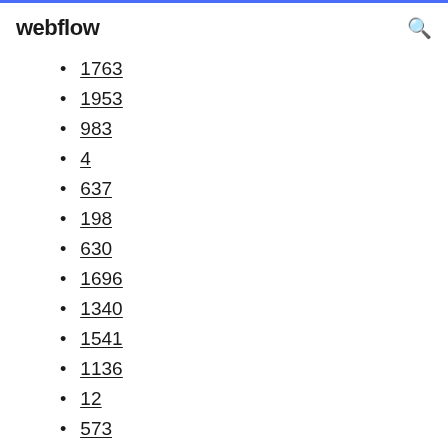webflow
1763
1953
983
4
637
198
630
1696
1340
1541
1136
12
573